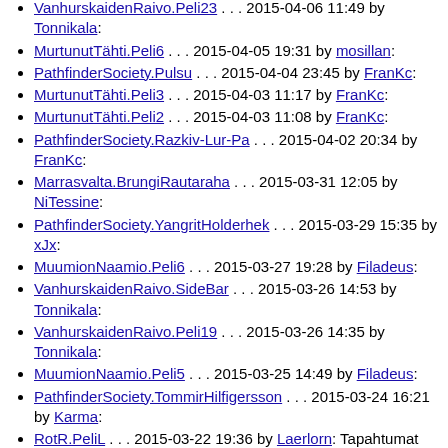VanhurskaidenRaivo.Peli23 . . . 2015-04-06 11:49 by Tonnikala:
MurtunutTähti.Peli6 . . . 2015-04-05 19:31 by mosillan:
PathfinderSociety.Pulsu . . . 2015-04-04 23:45 by FranKc:
MurtunutTähti.Peli3 . . . 2015-04-03 11:17 by FranKc:
MurtunutTähti.Peli2 . . . 2015-04-03 11:08 by FranKc:
PathfinderSociety.Razkiv-Lur-Pa . . . 2015-04-02 20:34 by FranKc:
Marrasvalta.BrungiRautaraha . . . 2015-03-31 12:05 by NiTessine:
PathfinderSociety.YangritHolderhek . . . 2015-03-29 15:35 by xJx:
MuumionNaamio.Peli6 . . . 2015-03-27 19:28 by Filadeus:
VanhurskaidenRaivo.SideBar . . . 2015-03-26 14:53 by Tonnikala:
VanhurskaidenRaivo.Peli19 . . . 2015-03-26 14:35 by Tonnikala:
MuumionNaamio.Peli5 . . . 2015-03-25 14:49 by Filadeus:
PathfinderSociety.TommirHilfigersson . . . 2015-03-24 16:21 by Karma:
RotR.PeliL . . . 2015-03-22 19:36 by Laerlorn: Tapahtumat
PathfinderSociety.JoStiggson . . . 2015-03-22 18:59 by MaryLeathert:
PathfinderSociety.Thraib . . . 2015-03-21 23:51 by FranKc:
ManseFiles.Sivuhahmoja . . . 2015-03-21 23:11 by